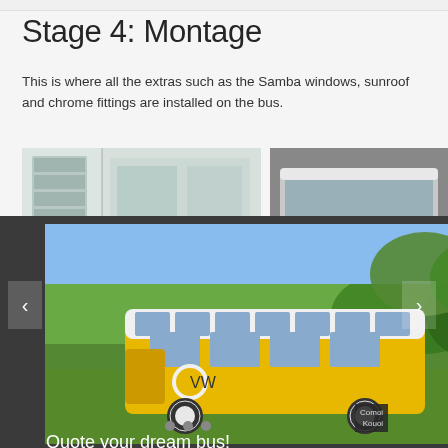Stage 4: Montage
This is where all the extras such as the Samba windows, sunroof and chrome fittings are installed on the bus.
[Figure (photo): VW bus interior detail photo on left]
[Figure (photo): VW Samba bus front view red and white]
[Figure (screenshot): Dark modal overlay showing carousel of yellow VW Samba bus with navigation arrows, dots, close button, 'Quote your dream bus!' text, and 'OPEN BUS BUILDER' button]
[Figure (photo): Bottom right photo showing VW bus windows/panels grid]
Quote your dream bus!
OPEN BUS BUILDER